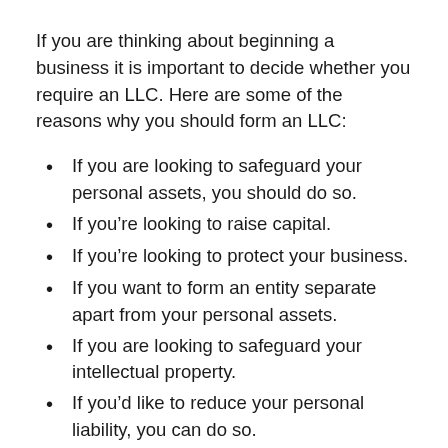If you are thinking about beginning a business it is important to decide whether you require an LLC. Here are some of the reasons why you should form an LLC:
If you are looking to safeguard your personal assets, you should do so.
If you're looking to raise capital.
If you're looking to protect your business.
If you want to form an entity separate apart from your personal assets.
If you are looking to safeguard your intellectual property.
If you'd like to reduce your personal liability, you can do so.